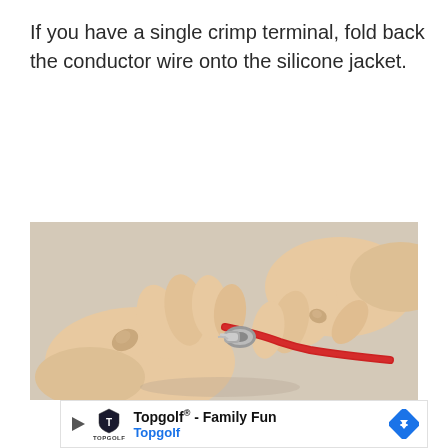If you have a single crimp terminal, fold back the conductor wire onto the silicone jacket.
[Figure (photo): Hands manipulating a small red-jacketed wire with a silver crimp terminal connector, viewed from above on a light surface.]
Topgolf® - Family Fun Topgolf